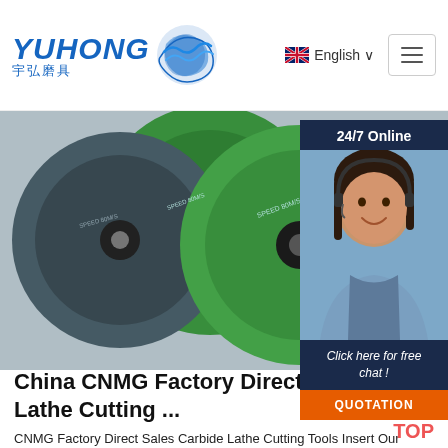[Figure (logo): Yuhong abrasives logo with Chinese characters and blue wave icon]
English ∨
[Figure (photo): Photo of green grinding/cutting discs stacked together]
24/7 Online
[Figure (photo): Customer service representative wearing headset, smiling]
Click here for free chat !
QUOTATION
China CNMG Factory Direct Sales Lathe Cutting ...
CNMG Factory Direct Sales Carbide Lathe Cutting Tools Insert Our products have passed the ISO certification, we can accept OEM and to map processing custom, copy the major brands slot. There are more than 1500 sets of molds with complete models and …
Get Price